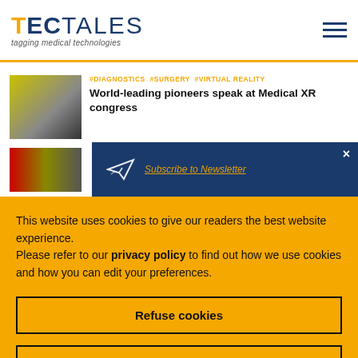TECTALES tagging medical technologies
#DIAGNOSTICS #SURGERY #VIRTUAL REALITY
World-leading pioneers speak at Medical XR congress
[Figure (screenshot): Newsletter subscription popup overlay on dark blue background with paper airplane icon and text 'Subscribe to Newsletter', with a close (X) button]
This website uses cookies to give our readers the best website experience.
Please refer to our privacy policy to find out how we use cookies and how you can edit your preferences.
Refuse cookies
Accept cookies